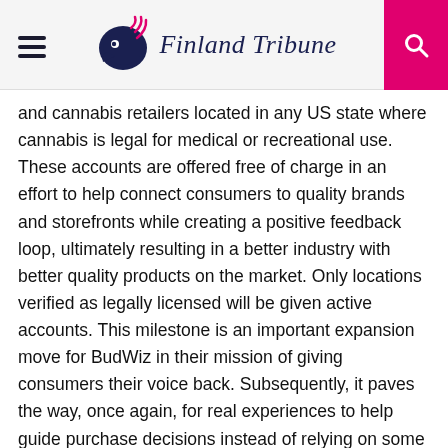Finland Tribune
and cannabis retailers located in any US state where cannabis is legal for medical or recreational use. These accounts are offered free of charge in an effort to help connect consumers to quality brands and storefronts while creating a positive feedback loop, ultimately resulting in a better industry with better quality products on the market. Only locations verified as legally licensed will be given active accounts. This milestone is an important expansion move for BudWiz in their mission of giving consumers their voice back. Subsequently, it paves the way, once again, for real experiences to help guide purchase decisions instead of relying on some costly one size fits all “this product is great” media plug.
“It’s a fancy feedback loop. Well, it’s obviously a lot more than that, but in reality, that is what I think sets us apart. What we are selling and what people are buying aren’t the same at 10,000